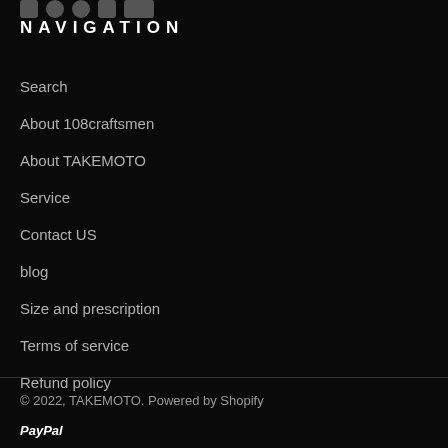[Figure (other): Social media icons row at top of page (partially visible)]
NAVIGATION
Search
About 108craftsmen
About TAKEMOTO
Service
Contact US
blog
Size and prescription
Terms of service
Refund policy
© 2022, TAKEMOTO. Powered by Shopify
[Figure (logo): PayPal logo in italic bold white text]